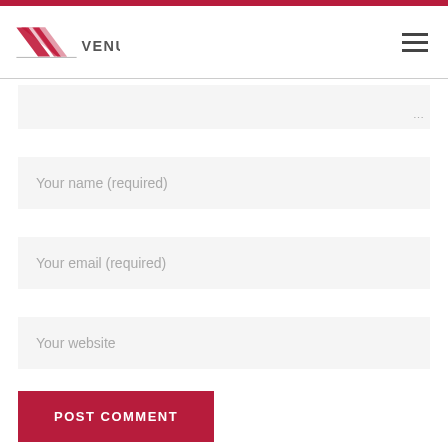[Figure (logo): Venus fashion brand logo with stylized V and the word VENUS in grey]
[Figure (other): Hamburger menu icon (three horizontal lines)]
Your name (required)
Your email (required)
Your website
POST COMMENT